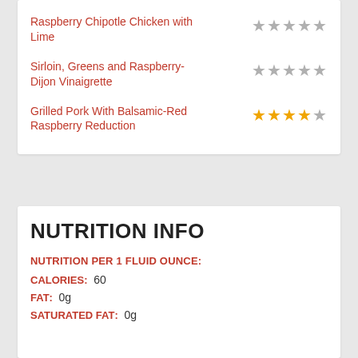Raspberry Chipotle Chicken with Lime — ☆☆☆☆☆
Sirloin, Greens and Raspberry-Dijon Vinaigrette — ☆☆☆☆☆
Grilled Pork With Balsamic-Red Raspberry Reduction — ★★★★☆
NUTRITION INFO
NUTRITION PER 1 FLUID OUNCE:
CALORIES: 60
FAT: 0g
SATURATED FAT: 0g